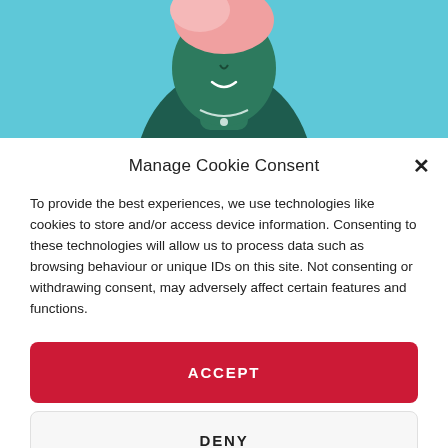[Figure (illustration): Illustration of a person with teal skin and pink hair on a light blue background, partially visible at the top of the page.]
Manage Cookie Consent
To provide the best experiences, we use technologies like cookies to store and/or access device information. Consenting to these technologies will allow us to process data such as browsing behaviour or unique IDs on this site. Not consenting or withdrawing consent, may adversely affect certain features and functions.
ACCEPT
DENY
VIEW PREFERENCES
Complaint Policy  Privacy Policy